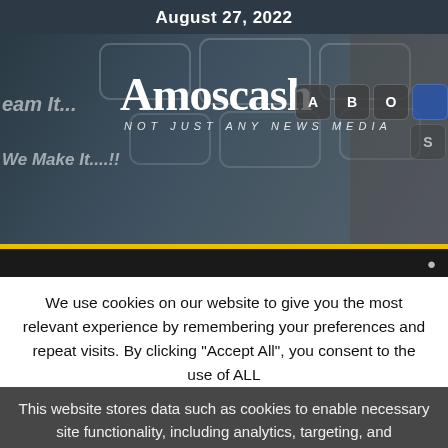August 27, 2022
[Figure (screenshot): Amoscash website hero banner with logo, tagline 'NOT JUST ANY NEWS MEDIA', navigation buttons A B O, left italic text 'eam It... We Make It....!!', and a background photo of a person in a suit with hand outstretched showing digital interface]
We use cookies on our website to give you the most relevant experience by remembering your preferences and repeat visits. By clicking "Accept All", you consent to the use of ALL
This website stores data such as cookies to enable necessary site functionality, including analytics, targeting, and personalization. By remaining on this website you indicate your consent Cookie Policy